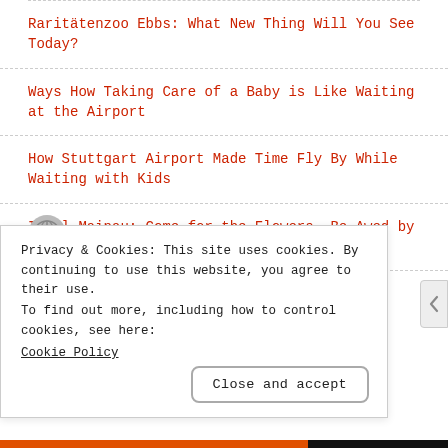Raritätenzoo Ebbs: What New Thing Will You See Today?
Ways How Taking Care of a Baby is Like Waiting at the Airport
How Stuttgart Airport Made Time Fly By While Waiting with Kids
Insel Mainau: Come for the Flowers, Be Awed by the Playground
Privacy & Cookies: This site uses cookies. By continuing to use this website, you agree to their use.
To find out more, including how to control cookies, see here: Cookie Policy
Close and accept